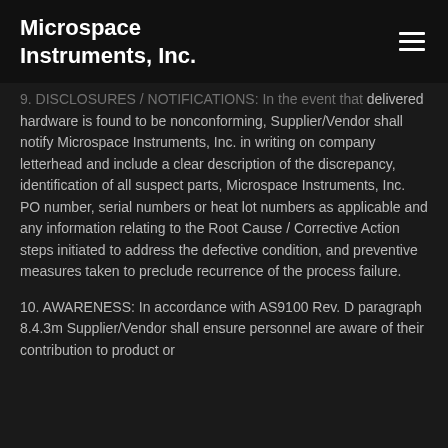Microspace Instruments, Inc.
9. DISCLOSURES / NOTIFICATIONS: In the event that delivered hardware is found to be nonconforming, Supplier/Vendor shall notify Microspace Instruments, Inc. in writing on company letterhead and include a clear description of the discrepancy, identification of all suspect parts, Microspace Instruments, Inc. PO number, serial numbers or heat lot numbers as applicable and any information relating to the Root Cause / Corrective Action steps initiated to address the defective condition, and preventive measures taken to preclude recurrence of the process failure.
10. AWARENESS: In accordance with AS9100 Rev. D paragraph 8.4.3m Supplier/Vendor shall ensure personnel are aware of their contribution to product or